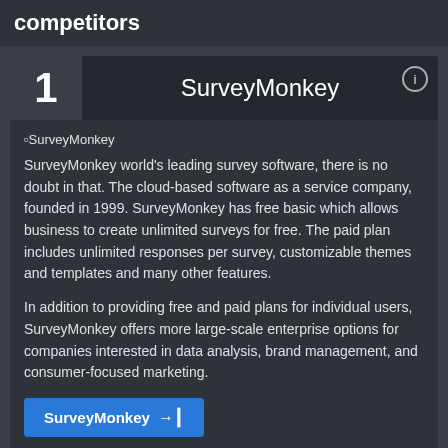competitors
1   SurveyMonkey
[Figure (other): SurveyMonkey logo image (broken image placeholder)]
SurveyMonkey world's leading survey software, there is no doubt in that. The cloud-based software as a service company, founded in 1999. SurveyMonkey has free basic which allows business to create unlimited surveys for free. The paid plan includes unlimited responses per survey, customizable themes and templates and many other features.
In addition to providing free and paid plans for individual users, SurveyMonkey offers more large-scale enterprise options for companies interested in data analysis, brand management, and consumer-focused marketing.
SurveyMonkey ➔
2   Questionpro